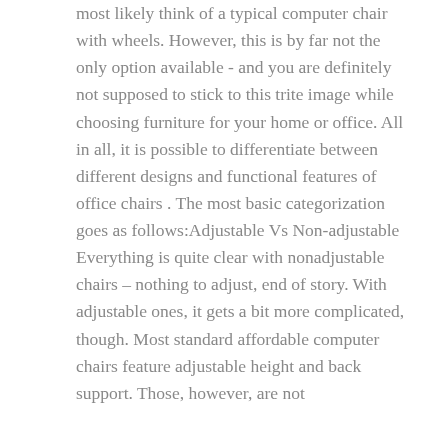most likely think of a typical computer chair with wheels. However, this is by far not the only option available - and you are definitely not supposed to stick to this trite image while choosing furniture for your home or office. All in all, it is possible to differentiate between different designs and functional features of office chairs . The most basic categorization goes as follows:Adjustable Vs Non-adjustable Everything is quite clear with nonadjustable chairs – nothing to adjust, end of story. With adjustable ones, it gets a bit more complicated, though. Most standard affordable computer chairs feature adjustable height and back support. Those, however, are not